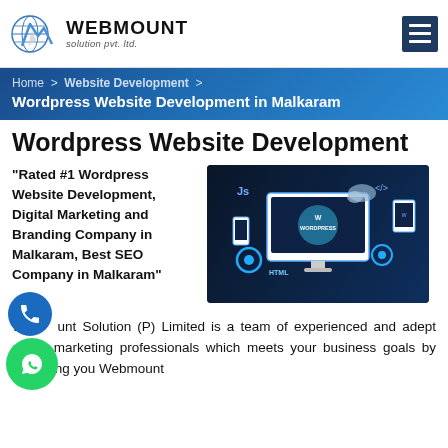WEBMOUNT solution pvt. ltd.
Home > Website Development > Wordpress Website Development in Malkaram
Wordpress Website Development
"Rated #1 Wordpress Website Development, Digital Marketing and Branding Company in Malkaram, Best SEO Company in Malkaram"
[Figure (screenshot): WordPress development illustration showing a monitor with WordPress logo, gears, coding symbols (Js, HTML, CSS), cloud icon, and tablets on dark blue background]
Webmount Solution (P) Limited is a team of experienced and adept digital marketing professionals which meets your business goals by delivering you Webmount